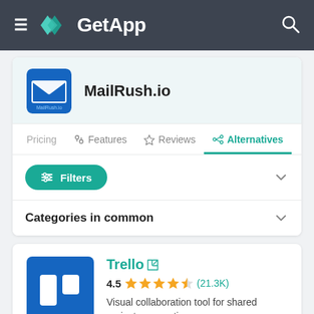GetApp
MailRush.io
Pricing  Features  Reviews  Alternatives
Filters
Categories in common
Trello 4.5 (21.3K) Visual collaboration tool for shared project perspectives